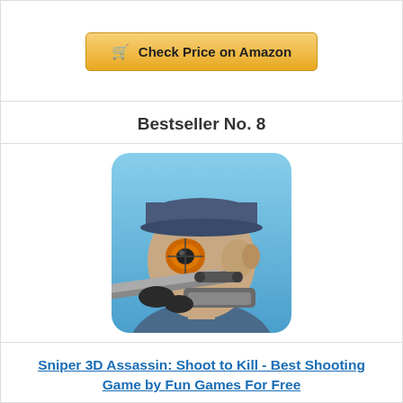[Figure (other): Shopping cart button: 'Check Price on Amazon' with gold background]
Bestseller No. 8
[Figure (photo): App icon for Sniper 3D Assassin game showing a man aiming a sniper rifle with a red scope, set against a blue background]
Sniper 3D Assassin: Shoot to Kill - Best Shooting Game by Fun Games For Free
[Figure (other): Shopping cart button: 'Check Price on Amazon' with gold background]